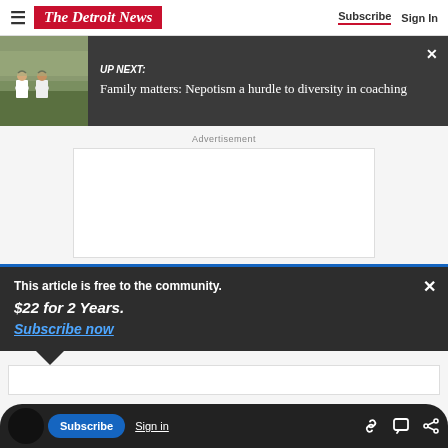The Detroit News — Subscribe  Sign In
[Figure (screenshot): UP NEXT banner with photo of football coaches on sideline. Text reads: UP NEXT: Family matters: Nepotism a hurdle to diversity in coaching]
Advertisement
[Figure (other): Empty advertisement placeholder box]
This article is free to the community. $22 for 2 Years. Subscribe now
Subscribe  Sign in  [link icon] [comment icon] [share icon]